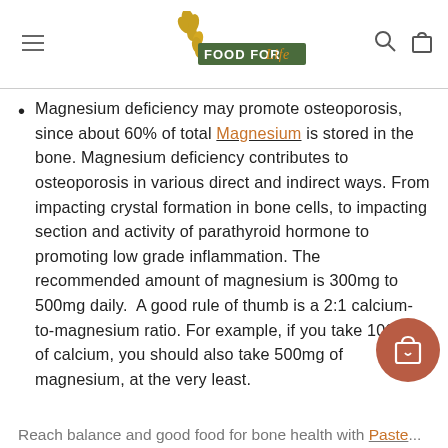FOOD FOR Life (logo with wheat graphic)
Magnesium deficiency may promote osteoporosis, since about 60% of total Magnesium is stored in the bone. Magnesium deficiency contributes to osteoporosis in various direct and indirect ways. From impacting crystal formation in bone cells, to impacting section and activity of parathyroid hormone to promoting low grade inflammation. The recommended amount of magnesium is 300mg to 500mg daily. A good rule of thumb is a 2:1 calcium-to-magnesium ratio. For example, if you take 1000mg of calcium, you should also take 500mg of magnesium, at the very least.
Reach balance and good food for bone health with Pasted ...